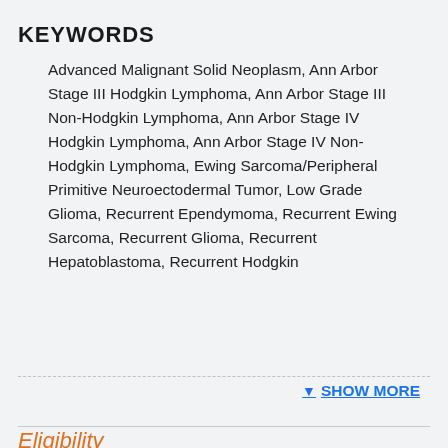KEYWORDS
Advanced Malignant Solid Neoplasm, Ann Arbor Stage III Hodgkin Lymphoma, Ann Arbor Stage III Non-Hodgkin Lymphoma, Ann Arbor Stage IV Hodgkin Lymphoma, Ann Arbor Stage IV Non-Hodgkin Lymphoma, Ewing Sarcoma/Peripheral Primitive Neuroectodermal Tumor, Low Grade Glioma, Recurrent Ependymoma, Recurrent Ewing Sarcoma, Recurrent Glioma, Recurrent Hepatoblastoma, Recurrent Hodgkin
▼ SHOW MORE
Eligibility